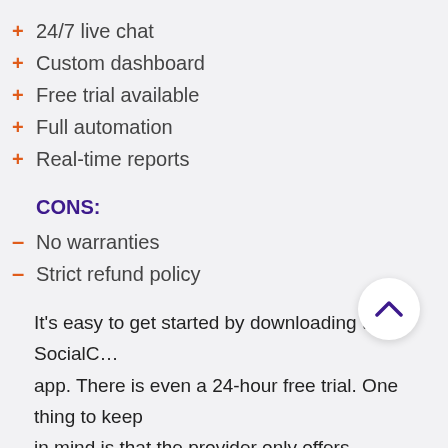+ 24/7 live chat
+ Custom dashboard
+ Free trial available
+ Full automation
+ Real-time reports
CONS:
– No warranties
– Strict refund policy
It's easy to get started by downloading the SocialC… app. There is even a 24-hour free trial. One thing to keep in mind is that the provider only offers subscription